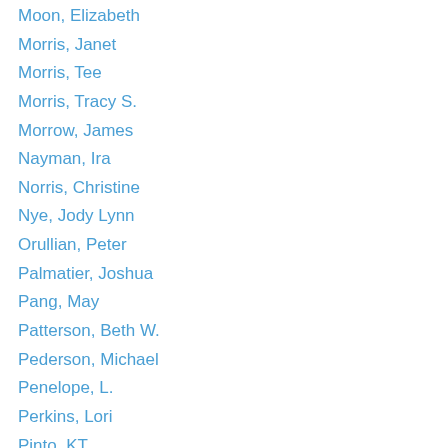Moon, Elizabeth
Morris, Janet
Morris, Tee
Morris, Tracy S.
Morrow, James
Nayman, Ira
Norris, Christine
Nye, Jody Lynn
Orullian, Peter
Palmatier, Joshua
Pang, May
Patterson, Beth W.
Pederson, Michael
Penelope, L.
Perkins, Lori
Pinto, KT
Pollotta, Nick
Powers, Tim
Prellwitz, Peter
Rambo, Cat